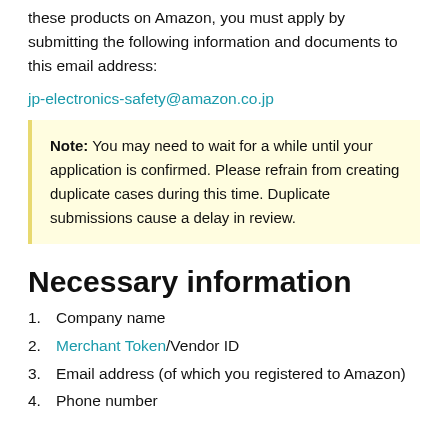these products on Amazon, you must apply by submitting the following information and documents to this email address:
jp-electronics-safety@amazon.co.jp
Note: You may need to wait for a while until your application is confirmed. Please refrain from creating duplicate cases during this time. Duplicate submissions cause a delay in review.
Necessary information
Company name
Merchant Token/Vendor ID
Email address (of which you registered to Amazon)
Phone number